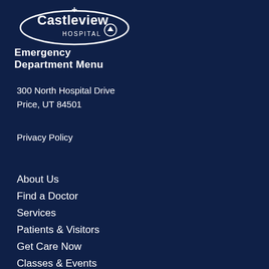[Figure (logo): Castleview Hospital logo — white text and swoosh oval on dark navy background]
Emergency Department Menu
300 North Hospital Drive
Price, UT 84501
Privacy Policy
About Us
Find a Doctor
Services
Patients & Visitors
Get Care Now
Classes & Events